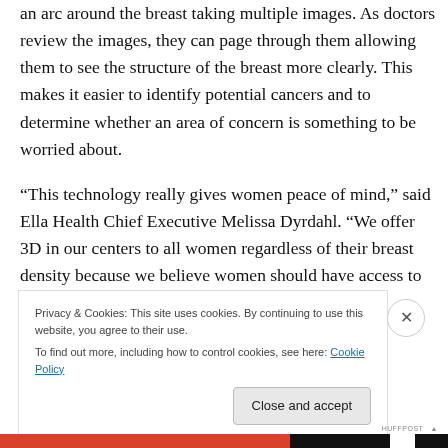an arc around the breast taking multiple images. As doctors review the images, they can page through them allowing them to see the structure of the breast more clearly. This makes it easier to identify potential cancers and to determine whether an area of concern is something to be worried about.
“This technology really gives women peace of mind,” said Ella Health Chief Executive Melissa Dyrdahl. “We offer 3D in our centers to all women regardless of their breast density because we believe women should have access to
Privacy & Cookies: This site uses cookies. By continuing to use this website, you agree to their use.
To find out more, including how to control cookies, see here: Cookie Policy